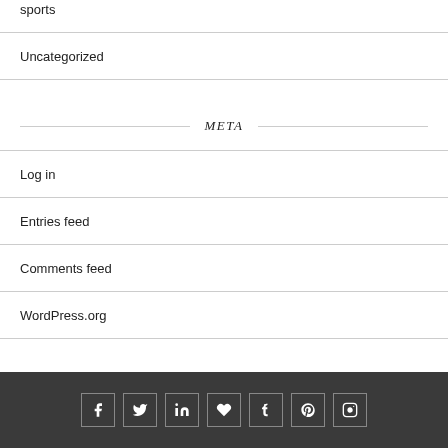sports
Uncategorized
META
Log in
Entries feed
Comments feed
WordPress.org
[Figure (infographic): Social media icon bar with icons for Facebook, Twitter, LinkedIn, Heart/Fancy, Tumblr, Pinterest, and Instagram on a dark grey background]